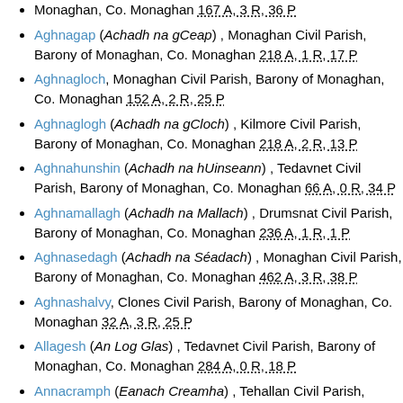Monaghan, Co. Monaghan 167 A, 3 R, 36 P
Aghnagap (Achadh na gCeap) , Monaghan Civil Parish, Barony of Monaghan, Co. Monaghan 218 A, 1 R, 17 P
Aghnagloch, Monaghan Civil Parish, Barony of Monaghan, Co. Monaghan 152 A, 2 R, 25 P
Aghnaglogh (Achadh na gCloch) , Kilmore Civil Parish, Barony of Monaghan, Co. Monaghan 218 A, 2 R, 13 P
Aghnahunshin (Achadh na hUinseann) , Tedavnet Civil Parish, Barony of Monaghan, Co. Monaghan 66 A, 0 R, 34 P
Aghnamallagh (Achadh na Mallach) , Drumsnat Civil Parish, Barony of Monaghan, Co. Monaghan 236 A, 1 R, 1 P
Aghnasedagh (Achadh na Séadach) , Monaghan Civil Parish, Barony of Monaghan, Co. Monaghan 462 A, 3 R, 38 P
Aghnashalvy, Clones Civil Parish, Barony of Monaghan, Co. Monaghan 32 A, 3 R, 25 P
Allagesh (An Log Glas) , Tedavnet Civil Parish, Barony of Monaghan, Co. Monaghan 284 A, 0 R, 18 P
Annacramph (Eanach Creamha) , Tehallan Civil Parish, Barony of Monaghan, Co. Monaghan 142 A, 3 R, 23 P
Annagally (Eanach Gallaigh) , Tedavnet Civil Parish, Barony of Monaghan, Co. Monaghan 149 A, 0 R, 37 P
Annagh, Clones Civil Parish, Barony of Monaghan, Co.